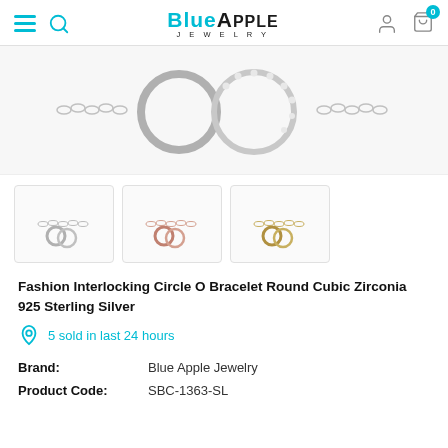Blue Apple Jewelry
[Figure (photo): Close-up photo of a silver interlocking circle bracelet with cubic zirconia stones on a chain, shown on white background.]
[Figure (photo): Three thumbnail variants of the interlocking circle bracelet in silver, rose gold, and gold colors.]
Fashion Interlocking Circle O Bracelet Round Cubic Zirconia 925 Sterling Silver
5 sold in last 24 hours
| Brand: | Blue Apple Jewelry |
| Product Code: | SBC-1363-SL |